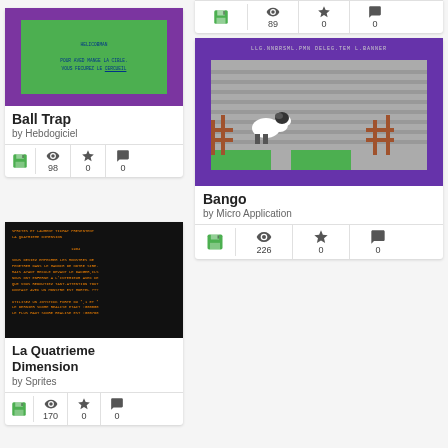[Figure (screenshot): Partial card at top right showing stats: 89, 0, 0]
[Figure (screenshot): Ball Trap game screenshot - purple background with green inner area showing BASIC text]
Ball Trap
by Hebdogiciel
98  0  0
[Figure (screenshot): Bango game screenshot - purple border with gray striped background, sheep character and wooden fence]
Bango
by Micro Application
226  0  0
[Figure (screenshot): La Quatrieme Dimension game screenshot - black background with orange text in BASIC style]
La Quatrieme Dimension
by Sprites
170  0  0